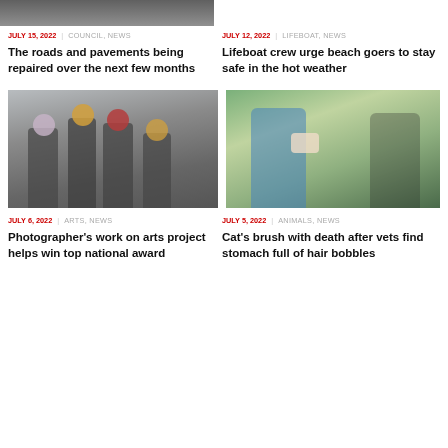[Figure (photo): Top left: partial image of a road or pavement scene (cropped at top)]
JULY 15, 2022 | COUNCIL, NEWS
The roads and pavements being repaired over the next few months
JULY 12, 2022 | LIFEBOAT, NEWS
Lifeboat crew urge beach goers to stay safe in the hot weather
[Figure (photo): Statues of the Beatles with decorative flowers on their heads, standing on a city street]
JULY 6, 2022 | ARTS, NEWS
Photographer's work on arts project helps win top national award
[Figure (photo): A man and woman holding a cat outdoors with green foliage in background]
JULY 5, 2022 | ANIMALS, NEWS
Cat's brush with death after vets find stomach full of hair bobbles